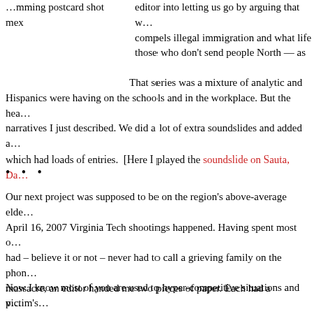…mming postcard shot mex    editor into letting us go by arguing that w… compels illegal immigration and what life those who don't send people North — as
That series was a mixture of analytic and Hispanics were having on the schools and in the workplace. But the hea narratives I just described. We did a lot of extra soundslides and added a which had loads of entries.  [Here I played the soundslide on Sauta, Da…
• • •
Our next project was supposed to be on the region's above-average elde April 16, 2007 Virginia Tech shootings happened. Having spent most o had – believe it or not – never had to call a grieving family on the phon massacre, an editor handed me two pieces of paper. Each had a victim's information. One was Jarrett Lane's.
Now I know most of you are used to hyper-competitive situations and p had to compete against 500 media reporters from all over the world. Ag…